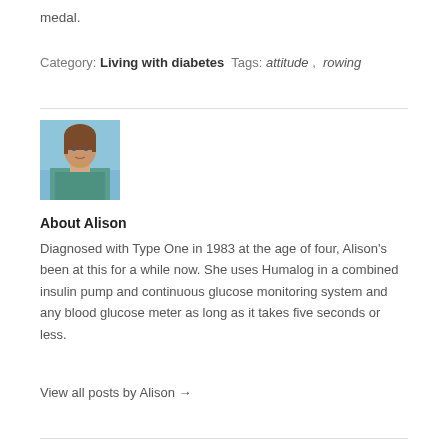medal.
Category: Living with diabetes  Tags: attitude, rowing
[Figure (photo): Portrait photo of Alison, a woman with reddish-brown hair, wearing a teal patterned top, photographed outdoors against a blue sky background.]
About Alison
Diagnosed with Type One in 1983 at the age of four, Alison's been at this for a while now. She uses Humalog in a combined insulin pump and continuous glucose monitoring system and any blood glucose meter as long as it takes five seconds or less.
View all posts by Alison →